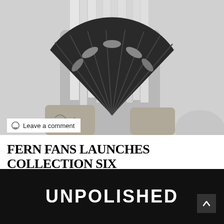[Figure (photo): Black and white photo of a person holding a decorative fan with fern/leaf pattern, hair falling over face, tattoo visible on hand]
Leave a comment
FERN FANS LAUNCHES COLLECTION SIX
UNPOLISHED